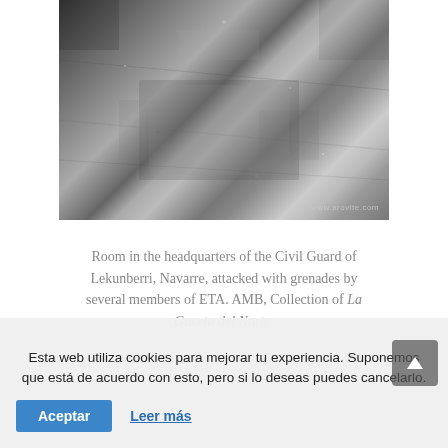[Figure (photo): Black and white photograph of a damaged room in the headquarters of the Civil Guard of Lekunberri, Navarre, showing debris and destruction from a grenade attack. Watermark reads www.arovite.com]
Room in the headquarters of the Civil Guard of Lekunberri, Navarre, attacked with grenades by several members of ETA. AMB, Collection of La Gaceta del Norte.
Esta web utiliza cookies para mejorar tu experiencia. Suponemos que está de acuerdo con esto, pero si lo deseas puedes cancelarlo.